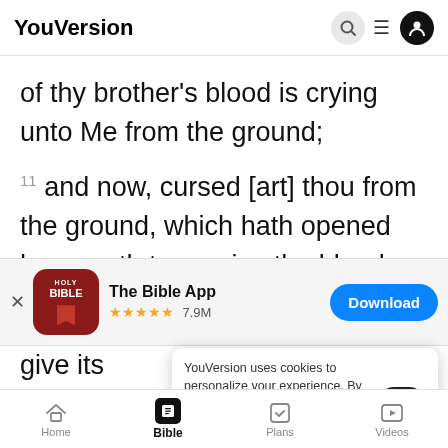YouVersion
of thy brother's blood is crying unto Me from the ground;
11 and now, cursed [art] thou from the ground, which hath opened her mouth to receive the blood
[Figure (screenshot): The Bible App banner with Holy Bible icon, 5 star rating 7.9M reviews, and Download button]
give its
tremblin
13 And Cain saith unto Jehovah: 'Greater is my
YouVersion uses cookies to personalize your experience. By using our website, you accept our use of cookies as described in our Privacy Policy.
Home  Bible  Plans  Videos